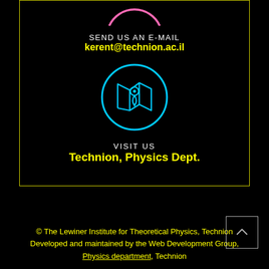[Figure (illustration): Pink arc/semi-circle at top of bordered card]
SEND US AN E-MAIL
kerent@technion.ac.il
[Figure (illustration): Cyan/blue circle with map pin location icon inside]
VISIT US
Technion, Physics Dept.
© The Lewiner Institute for Theoretical Physics, Technion
Developed and maintained by the Web Development Group, Physics department, Technion